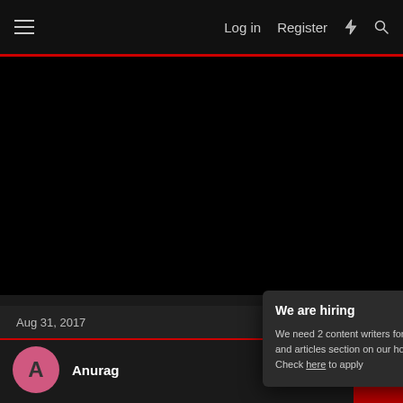Log in  Register
Aug 31, 2017
Anurag
We are hiring
We need 2 content writers for our news and articles section on our homepage. Check here to apply